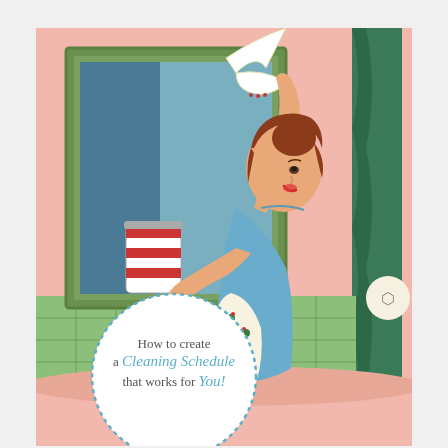[Figure (illustration): Retro 1950s style illustration of a housewife in a blue dress and floral apron cleaning a bathroom window with a cloth, holding a red and white striped cleaning product can. Pink walls, green tiles, green curtain in background. White circle overlay with text: 'How to create a Cleaning Schedule that works for You!' with dotted border.]